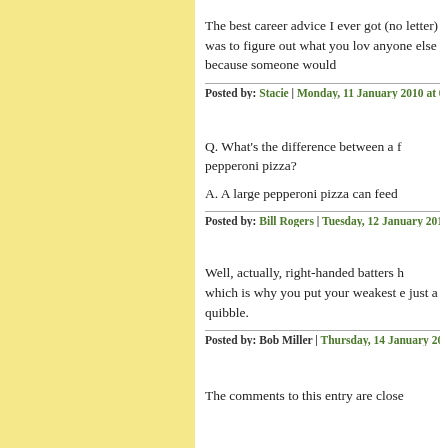The best career advice I ever got (no letter) was to figure out what you lov anyone else because someone would
Posted by: Stacie | Monday, 11 January 2010 at 08:11
Q. What's the difference between a f pepperoni pizza?

A. A large pepperoni pizza can feed
Posted by: Bill Rogers | Tuesday, 12 January 2010 at 0
Well, actually, right-handed batters h which is why you put your weakest e just a quibble.
Posted by: Bob Miller | Thursday, 14 January 2010 at
The comments to this entry are close